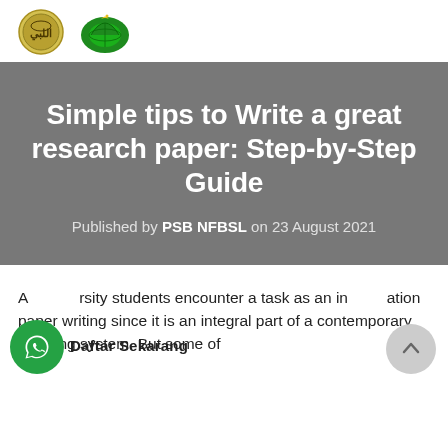[Figure (logo): Two logos side by side: a circular yellow/olive Arabic script emblem and a green dome/globe emblem]
Simple tips to Write a great research paper: Step-by-Step Guide
Published by PSB NFBSL on 23 August 2021
All university students encounter a task as an intimidation paper writing since it is an integral part of a contemporary studying system. But some of
[Figure (illustration): WhatsApp floating button (green circle with WhatsApp icon) and a Daftar Sekarang label, plus a scroll-to-top grey circle button]